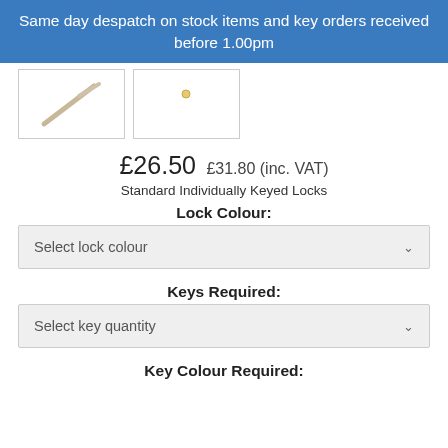Same day despatch on stock items and key orders received before 1.00pm
[Figure (photo): Two thumbnail images of lock/key products shown side by side with white borders]
£26.50  £31.80 (inc. VAT)
Standard Individually Keyed Locks
Lock Colour:
Select lock colour
Keys Required:
Select key quantity
Key Colour Required: